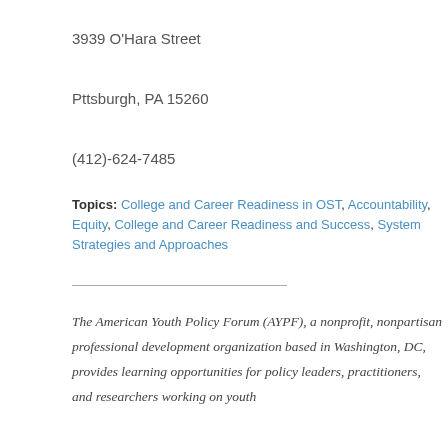3939 O'Hara Street
Pttsburgh, PA 15260
(412)-624-7485
Topics: College and Career Readiness in OST, Accountability, Equity, College and Career Readiness and Success, System Strategies and Approaches
The American Youth Policy Forum (AYPF), a nonprofit, nonpartisan professional development organization based in Washington, DC, provides learning opportunities for policy leaders, practitioners, and researchers working on youth